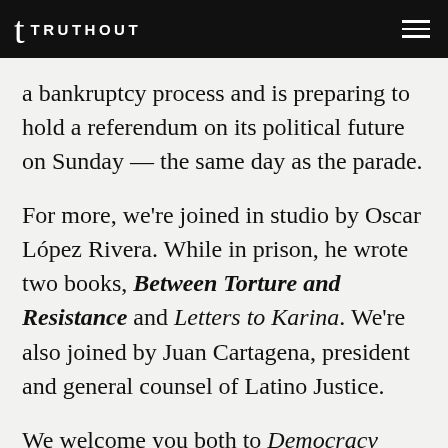TRUTHOUT
a bankruptcy process and is preparing to hold a referendum on its political future on Sunday — the same day as the parade.
For more, we're joined in studio by Oscar López Rivera. While in prison, he wrote two books, Between Torture and Resistance and Letters to Karina. We're also joined by Juan Cartagena, president and general counsel of Latino Justice.
We welcome you both to Democracy Now! Oscar López Rivera, how does it feel to be free?